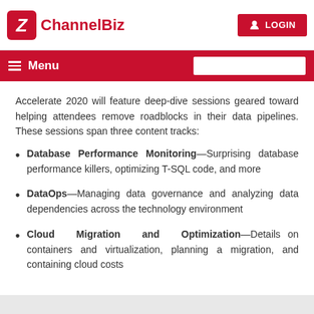ChannelBiz | Menu | LOGIN
Accelerate 2020 will feature deep-dive sessions geared toward helping attendees remove roadblocks in their data pipelines. These sessions span three content tracks:
Database Performance Monitoring—Surprising database performance killers, optimizing T-SQL code, and more
DataOps—Managing data governance and analyzing data dependencies across the technology environment
Cloud Migration and Optimization—Details on containers and virtualization, planning a migration, and containing cloud costs